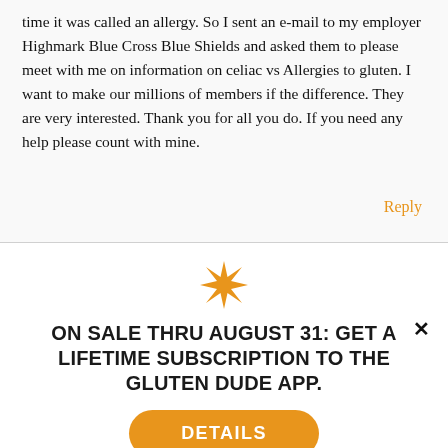time it was called an allergy. So I sent an e-mail to my employer Highmark Blue Cross Blue Shields and asked them to please meet with me on information on celiac vs Allergies to gluten. I want to make our millions of members if the difference. They are very interested. Thank you for all you do. If you need any help please count with mine.
Reply
[Figure (illustration): Orange decorative star/snowflake icon]
ON SALE THRU AUGUST 31: GET A LIFETIME SUBSCRIPTION TO THE GLUTEN DUDE APP.
DETAILS